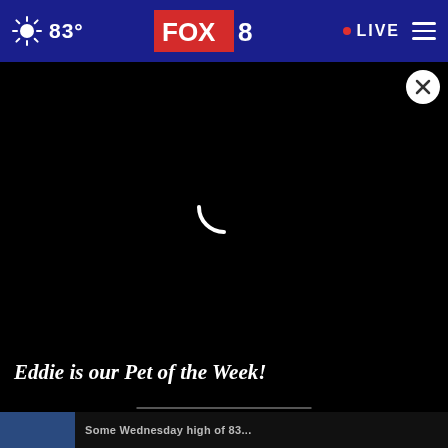83° FOX 8 LIVE
[Figure (screenshot): Video player loading screen — black background with white circular loading spinner in center, and a white X close button in top right corner]
Eddie is our Pet of the Week!